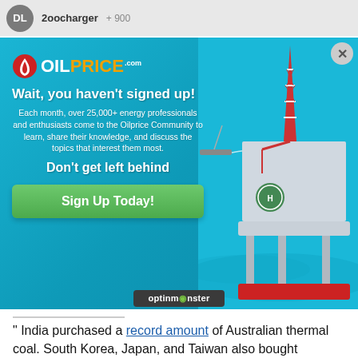DL  2oocharger  +900
[Figure (screenshot): OilPrice.com popup advertisement over an ocean oil rig background. Contains OilPrice logo, headline 'Wait, you haven't signed up!', body text about 25,000+ energy professionals, subheadline 'Don't get left behind', and a green 'Sign Up Today!' button. A close (X) button is in the top right. An OptinMonster badge appears at the bottom of the popup.]
" India purchased a record amount of Australian thermal coal. South Korea, Japan, and Taiwan also bought increased amounts of the cheap Australian thermal